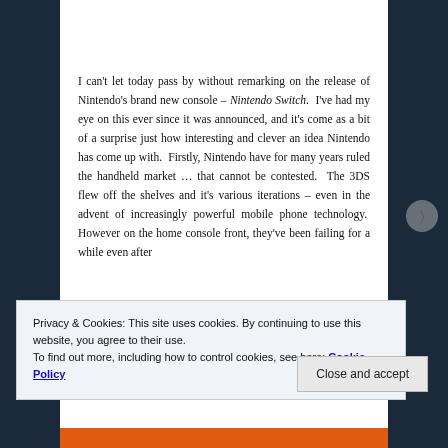[Figure (photo): Top portion of Nintendo Switch console hardware against light background]
I can't let today pass by without remarking on the release of Nintendo's brand new console – Nintendo Switch. I've had my eye on this ever since it was announced, and it's come as a bit of a surprise just how interesting and clever an idea Nintendo has come up with. Firstly, Nintendo have for many years ruled the handheld market … that cannot be contested. The 3DS flew off the shelves and it's various iterations – even in the advent of increasingly powerful mobile phone technology. However on the home console front, they've been failing for a while even after
Privacy & Cookies: This site uses cookies. By continuing to use this website, you agree to their use.
To find out more, including how to control cookies, see here: Cookie Policy
Close and accept